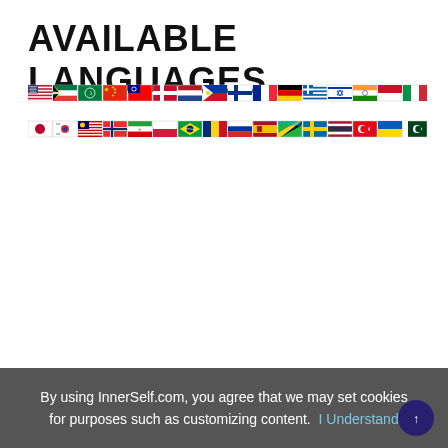AVAILABLE LANGUAGES
[Figure (illustration): Two rows of country flag icons representing available language options. Row 1: USA, South Africa, Arab League, China, Taiwan, Denmark, Netherlands, Philippines, Finland, France, Germany, Greece, Israel, India, Indonesia, Italy. Row 2: Japan, South Korea, Malaysia, Norway, Iran, Poland, Brazil, Romania, Russia, Spain, Tanzania, Sweden, Thailand, Turkey, Ukraine, Pakistan, Vietnam.]
By using InnerSelf.com, you agree that we may set cookies for purposes such as customizing content.  I Understand